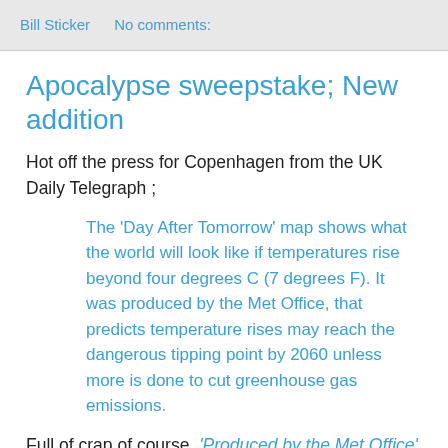Bill Sticker   No comments:
Apocalypse sweepstake; New addition
Hot off the press for Copenhagen from the UK Daily Telegraph ;
The 'Day After Tomorrow' map shows what the world will look like if temperatures rise beyond four degrees C (7 degrees F). It was produced by the Met Office, that predicts temperature rises may reach the dangerous tipping point by 2060 unless more is done to cut greenhouse gas emissions.
Full of crap of course. 'Produced by the Met Office' - Hah! That guarantees its accuracy doesn't it?
However, I am not going to be a complete naysayer; Gordon Brown, that great seer of all things ecological, has